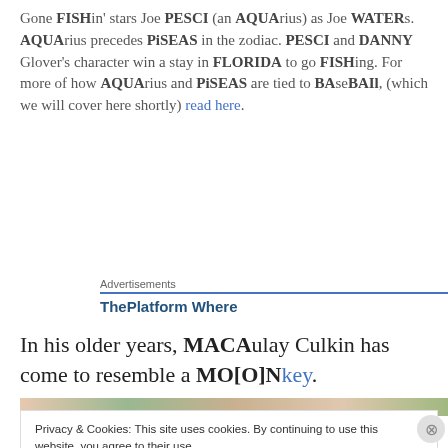Gone FISHin' stars Joe PESCI (an AQUArius) as Joe WATERs. AQUArius precedes PiSEAS in the zodiac. PESCI and DANNY Glover's character win a stay in FLORIDA to go FISHing. For more of how AQUArius and PiSEAS are tied to BAseBAIl, (which we will cover here shortly) read here.
Advertisements
ThePlatform Where
In his older years, MACAulay Culkin has come to resemble a MO[O]Nkey.
Privacy & Cookies: This site uses cookies. By continuing to use this website, you agree to their use.
To find out more, including how to control cookies, see here: Cookie Policy
Close and accept